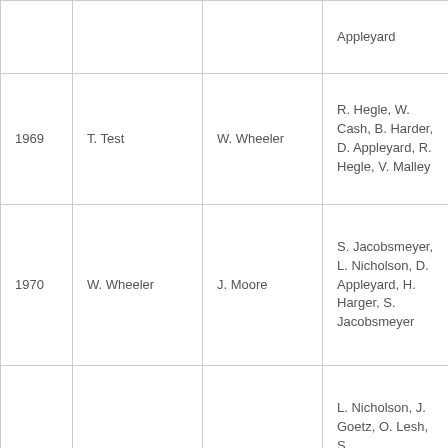|  |  |  | Appleyard |
| 1969 | T. Test | W. Wheeler | R. Hegle, W. Cash, B. Harder, D. Appleyard, R. Hegle, V. Malley |
| 1970 | W. Wheeler | J. Moore | S. Jacobsmeyer, L. Nicholson, D. Appleyard, H. Harger, S. Jacobsmeyer |
| 1971 | J. Moore | R. Hegle | L. Nicholson, J. Goetz, O. Lesh, S. JHacobsmeyer, L. Nicholson, J. Goetz |
|  |  |  | O. Lesh, F... |